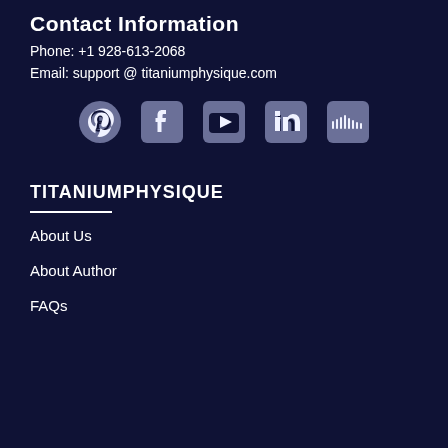Contact Information
Phone: +1 928-613-2068
Email: support @ titaniumphysique.com
[Figure (infographic): Row of social media icons: Pinterest, Facebook, YouTube, LinkedIn, SoundCloud]
TITANIUMPHYSIQUE
About Us
About Author
FAQs